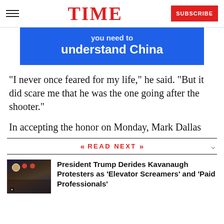TIME | SUBSCRIBE
[Figure (other): Blue advertisement banner with text 'understand China']
“I never once feared for my life,” he said. “But it did scare me that he was the one going after the shooter.”
In accepting the honor on Monday, Mark Dallas
READ NEXT
[Figure (photo): Photo of President Trump at a rally with supporters wearing red MAGA hats]
President Trump Derides Kavanaugh Protesters as 'Elevator Screamers' and 'Paid Professionals'